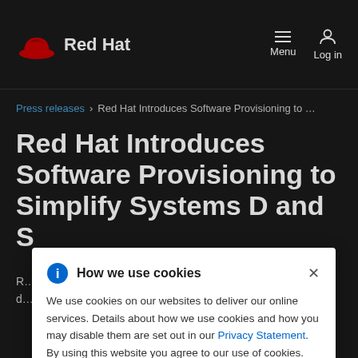Red Hat  Menu  Log in
Press releases > Red Hat Introduces Software Provisioning to …
Red Hat Introduces Software Provisioning to Simplify Systems D… and S…
R… s quickly d… systems.
How we use cookies
We use cookies on our websites to deliver our online services. Details about how we use cookies and how you may disable them are set out in our Privacy Statement. By using this website you agree to our use of cookies.